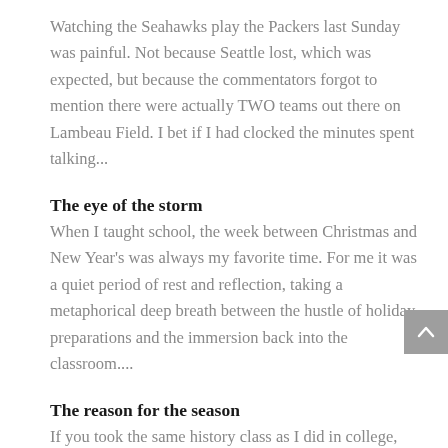Watching the Seahawks play the Packers last Sunday was painful. Not because Seattle lost, which was expected, but because the commentators forgot to mention there were actually TWO teams out there on Lambeau Field. I bet if I had clocked the minutes spent talking...
The eye of the storm
When I taught school, the week between Christmas and New Year's was always my favorite time. For me it was a quiet period of rest and reflection, taking a metaphorical deep breath between the hustle of holiday preparations and the immersion back into the classroom....
The reason for the season
If you took the same history class as I did in college,